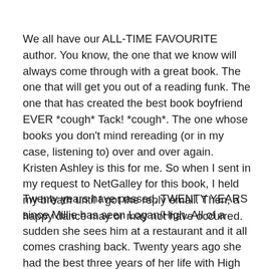We all have our ALL-TIME FAVOURITE author. You know, the one that we know will always come through with a great book. The one that will get you out of a reading funk. The one that has created the best book boyfriend EVER *cough* Tack! *cough*. The one whose books you don't mind rereading (or in my case, listening to) over and over again. Kristen Ashley is this for me. So when I sent in my request to NetGalley for this book, I held my breath until I got the reply email. Then, a happy dance may or may not have occurred.
Twenty years have passed. TWENTY YEARS since Millie has seen Logan/High. All of a sudden she sees him at a restaurant and it all comes crashing back. Twenty years ago she had the best three years of her life with High by